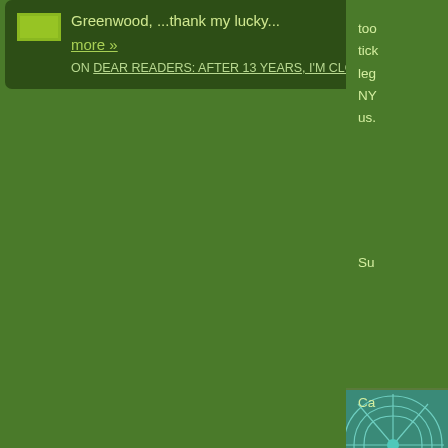[Figure (screenshot): Small avatar/thumbnail image, yellow-green colored square]
Greenwood, ...thank my lucky...
more »
ON DEAR READERS: AFTER 13 YEARS, I'M CLOSING THE OBSCURE STORE
too tick leg NY us.
Su
[Figure (illustration): Teal/green swirling spiral pattern on square thumbnail]
Ca
[Figure (illustration): Geometric grid/lattice pattern in olive/yellow on dark background square thumbnail]
I di UP If th the pa
[Figure (illustration): Abstract polygonal/voronoi pattern thumbnail]
Hey tick